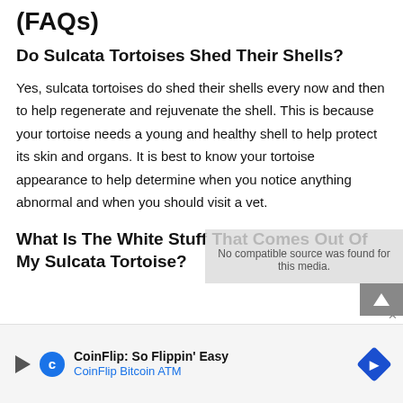(FAQs)
Do Sulcata Tortoises Shed Their Shells?
Yes, sulcata tortoises do shed their shells every now and then to help regenerate and rejuvenate the shell. This is because your tortoise needs a young and healthy shell to help protect its skin and organs. It is best to know your tortoise appearance to help determine when you notice anything abnormal and when you should visit a vet.
What Is The White Stuff That Comes Out Of My Sulcata Tortoise?
[Figure (other): Advertisement banner for CoinFlip Bitcoin ATM with play icon, C logo, text 'CoinFlip: So Flippin' Easy' and 'CoinFlip Bitcoin ATM', and a diamond-shaped navigation logo.]